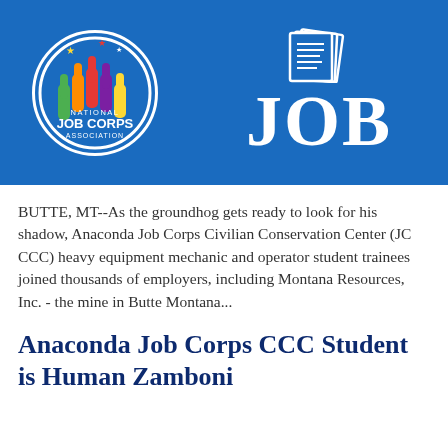[Figure (logo): National Job Corps Association logo with colorful hands in a white circle on blue background, and a document/pages icon with the word JOB in large white letters]
BUTTE, MT--As the groundhog gets ready to look for his shadow, Anaconda Job Corps Civilian Conservation Center (JC CCC) heavy equipment mechanic and operator student trainees joined thousands of employers, including Montana Resources, Inc. - the mine in Butte Montana...
Anaconda Job Corps CCC Student is Human Zamboni